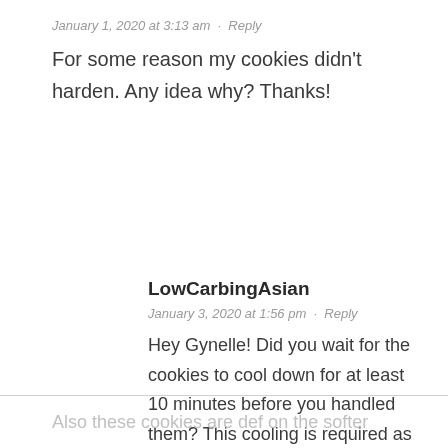January 1, 2020 at 3:13 am · Reply
For some reason my cookies didn't harden. Any idea why? Thanks!
LowCarbingAsian
January 3, 2020 at 1:56 pm · Reply
Hey Gynelle! Did you wait for the cookies to cool down for at least 10 minutes before you handled them? This cooling is required as the cookies are very fragile and soft out of the oven.
Also these cookies are def on the softer